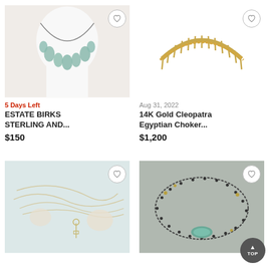[Figure (photo): Necklace with turquoise/teal drop-shaped stones on a silver chain, displayed on a white bust]
5 Days Left
ESTATE BIRKS STERLING AND...
$150
[Figure (photo): 14K gold Cleopatra Egyptian choker necklace with gold fringe/spike design, on white background]
Aug 31, 2022
14K Gold Cleopatra Egyptian Choker...
$1,200
[Figure (photo): Collection of gold/pearl chains and jewelry laid on a light blue surface]
[Figure (photo): Ancient-style beaded necklace with teal/turquoise stone centerpiece on gray background]